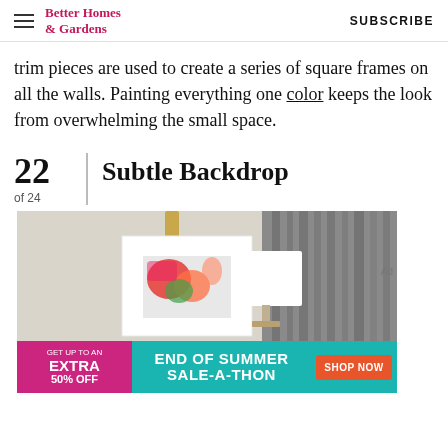Better Homes & Gardens  SUBSCRIBE
trim pieces are used to create a series of square frames on all the walls. Painting everything one color keeps the look from overwhelming the small space.
22 of 24  Subtle Backdrop
[Figure (photo): Interior room photo showing a white framed artwork with colorful abstract painting hung on a grey wall with a gold leather strap, next to a white lamp and grey curtains.]
[Figure (infographic): Advertisement banner: GET UP TO AN EXTRA 50% OFF | END OF SUMMER SALE-A-THON | SHOP NOW]